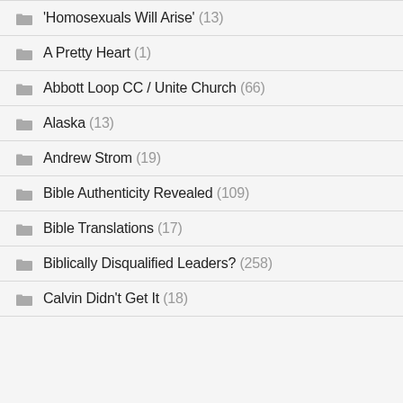'Homosexuals Will Arise' (13)
A Pretty Heart (1)
Abbott Loop CC / Unite Church (66)
Alaska (13)
Andrew Strom (19)
Bible Authenticity Revealed (109)
Bible Translations (17)
Biblically Disqualified Leaders? (258)
Calvin Didn't Get It (18)